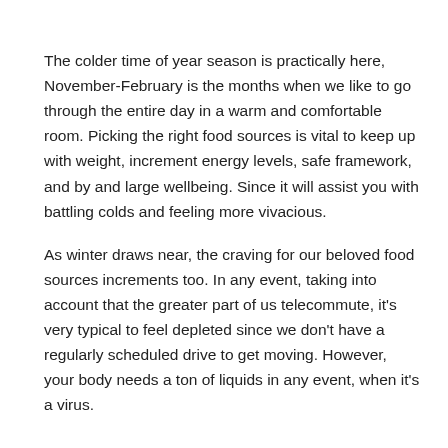The colder time of year season is practically here, November-February is the months when we like to go through the entire day in a warm and comfortable room. Picking the right food sources is vital to keep up with weight, increment energy levels, safe framework, and by and large wellbeing. Since it will assist you with battling colds and feeling more vivacious.
As winter draws near, the craving for our beloved food sources increments too. In any event, taking into account that the greater part of us telecommute, it's very typical to feel depleted since we don't have a regularly scheduled drive to get moving. However, your body needs a ton of liquids in any event, when it's a virus.